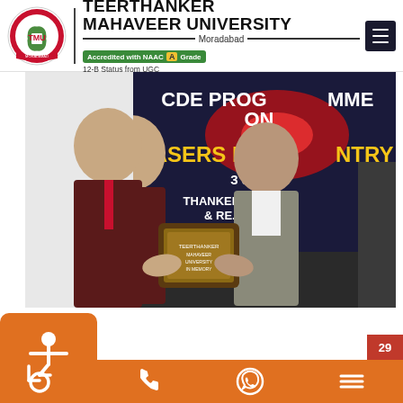[Figure (logo): Teerthanker Mahaveer University circular logo with TMU text]
TEERTHANKER MAHAVEER UNIVERSITY Moradabad
Accredited with NAAC A Grade
12-B Status from UGC
[Figure (photo): Two men in formal attire exchanging an award plaque in front of a banner reading CDE PROGRAMME ON LASERS IN DENTISTRY]
Categories
Academics
29